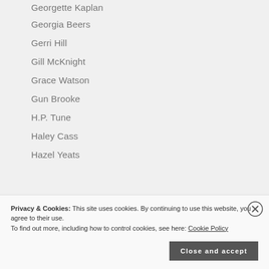Georgette Kaplan
Georgia Beers
Gerri Hill
Gill McKnight
Grace Watson
Gun Brooke
H.P. Tune
Haley Cass
Hazel Yeats
Privacy & Cookies: This site uses cookies. By continuing to use this website, you agree to their use.
To find out more, including how to control cookies, see here: Cookie Policy
Close and accept